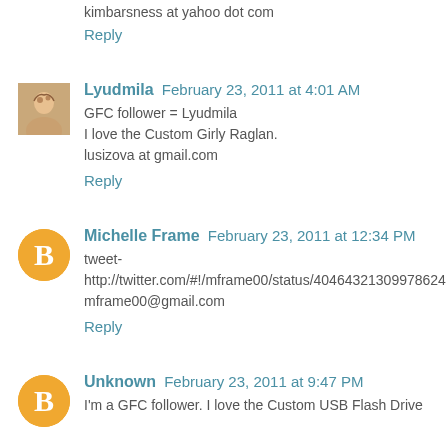kimbarsness at yahoo dot com
Reply
Lyudmila February 23, 2011 at 4:01 AM
GFC follower = Lyudmila
I love the Custom Girly Raglan.
lusizova at gmail.com
Reply
Michelle Frame February 23, 2011 at 12:34 PM
tweet-
http://twitter.com/#!/mframe00/status/40464321309978624
mframe00@gmail.com
Reply
Unknown February 23, 2011 at 9:47 PM
I'm a GFC follower. I love the Custom USB Flash Drive